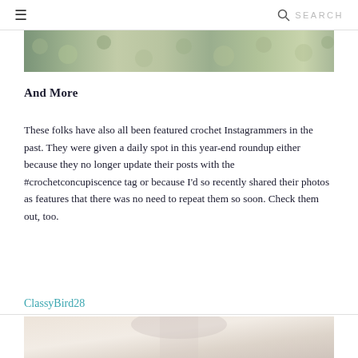≡   SEARCH
[Figure (photo): Colorful crochet yarn or textile photo, cropped at top of page]
And More
These folks have also all been featured crochet Instagrammers in the past. They were given a daily spot in this year-end roundup either because they no longer update their posts with the #crochetconcupiscence tag or because I'd so recently shared their photos as features that there was no need to repeat them so soon. Check them out, too.
ClassyBird28
[Figure (photo): Partial photo at bottom of page, appears to show a crochet item on a mannequin or hanger, light background]